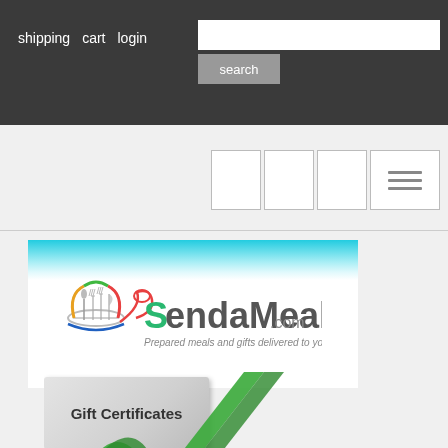shipping  cart  login  search
[Figure (screenshot): Navigation icon bar with three blank boxes and a hamburger menu icon]
[Figure (logo): SendaMeal.com logo with chef hat, fork, spoon, and knife icon. Tagline: Prepared meals and gifts delivered to your door!]
[Figure (illustration): Gift certificate card with green ribbon decoration]